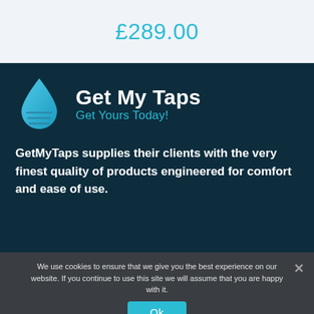£289.00
[Figure (logo): GetMyTaps blue water drop logo with brand name 'Get My Taps' and tagline 'Get Yours Today!']
GetMyTaps supplies their clients with the very finest quality of products engineered for comfort and ease of use.
We use cookies to ensure that we give you the best experience on our website. If you continue to use this site we will assume that you are happy with it.